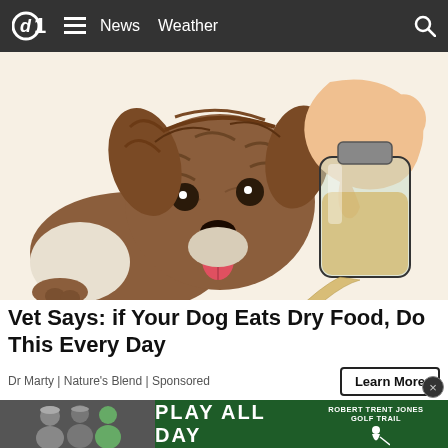d1  ≡  News  Weather  🔍
[Figure (illustration): Illustration of a fluffy brown and white dog with tongue out, watching a hand pour liquid from a glass bottle into a metal bowl]
Vet Says: if Your Dog Eats Dry Food, Do This Every Day
Dr Marty | Nature's Blend | Sponsored
Learn More
[Figure (photo): Bottom strip showing partial thumbnail images of news stories]
[Figure (infographic): Advertisement banner: PLAY ALL DAY with Robert Trent Jones Golf Trail logo]